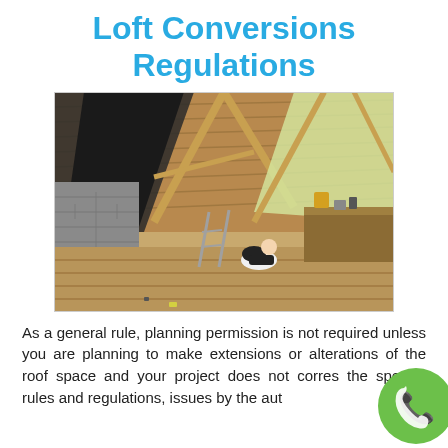Loft Conversions Regulations
[Figure (photo): Interior of a loft space under construction showing wooden roof trusses, a worker crouching on the floor laying boards, construction tools and equipment on the right side, and concrete block walls on the left.]
As a general rule, planning permission is not required unless you are planning to make extensions or alterations of the roof space and your project does not corres the specific rules and regulations, issues by the aut